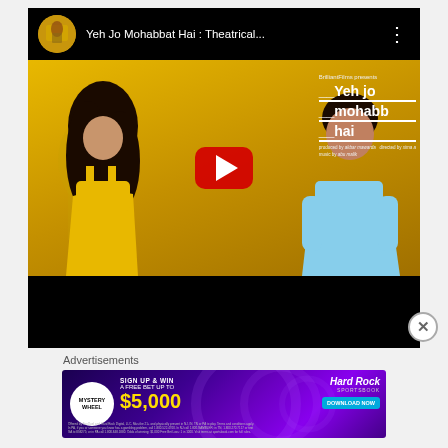[Figure (screenshot): YouTube video player showing 'Yeh Jo Mohabbat Hai : Theatrical...' with a movie poster thumbnail (couple leaning close together in front of golden background with Taj Mahal silhouette) and a red play button overlay. The video player has a black top bar with channel thumbnail, video title, and three-dot menu. Below the video thumbnail is a black progress/control area.]
Advertisements
[Figure (screenshot): Hard Rock Sportsbook advertisement banner with purple gradient background. Features 'Mystery Wheel' logo, 'SIGN UP & WIN A FREE BET UP TO $5,000' text in yellow/white, Hard Rock Sportsbook branding, and a 'DOWNLOAD NOW' blue button. Fine print legal text at bottom.]